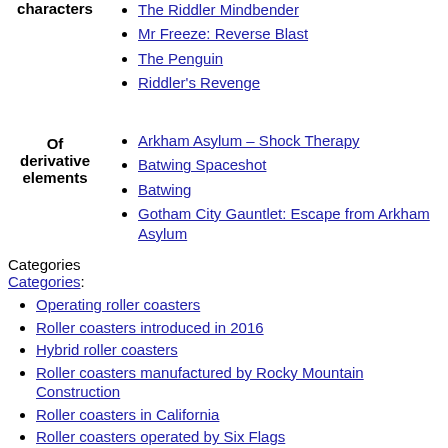The Riddler Mindbender
Mr Freeze: Reverse Blast
The Penguin
Riddler's Revenge
Arkham Asylum – Shock Therapy
Batwing Spaceshot
Batwing
Gotham City Gauntlet: Escape from Arkham Asylum
Categories
Categories:
Operating roller coasters
Roller coasters introduced in 2016
Hybrid roller coasters
Roller coasters manufactured by Rocky Mountain Construction
Roller coasters in California
Roller coasters operated by Six Flags
Six Flags Discovery Kingdom
Steel roller coasters
The Joker in other media